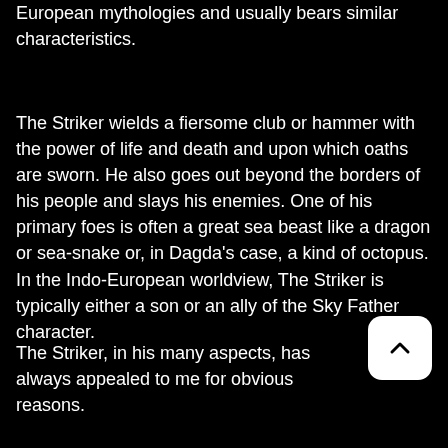European mythologies and usually bears similar characteristics.
The Striker wields a fiersome club or hammer with the power of life and death and upon which oaths are sworn. He also goes out beyond the borders of his people and slays his enemies. One of his primary foes is often a great sea beast like a dragon or sea-snake or, in Dagda's case, a kind of octopus. In the Indo-European worldview, The Striker is typically either a son or an ally of the Sky Father character.
The Striker, in his many aspects, has always appealed to me for obvious reasons.